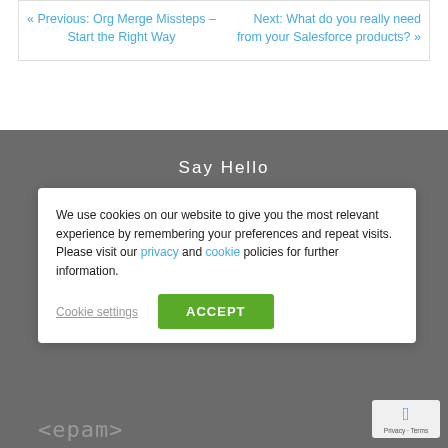« Previous: Org Merge Missteps – Start the Right Way
Next: What do you really need from your Salesforce products? »
Say Hello
hello@polsource.com
We use cookies on our website to give you the most relevant experience by remembering your preferences and repeat visits. Please visit our privacy and cookie policies for further information.
Cookie settings
ACCEPT
[Figure (logo): <epam> logo in monospace style]
[Figure (other): reCAPTCHA badge with Privacy - Terms text]